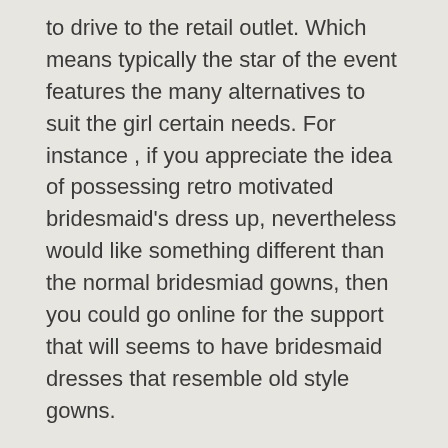to drive to the retail outlet. Which means typically the star of the event features the many alternatives to suit the girl certain needs. For instance , if you appreciate the idea of possessing retro motivated bridesmaid's dress up, nevertheless would like something different than the normal bridesmiad gowns, then you could go online for the support that will seems to have bridesmaid dresses that resemble old style gowns.
The Internet wedding brides product can offer custom made bridesmaid companies too. It ought to be qualified to make bridesmaid pictures in addition to go with those to the particular bridesmaid dresses. It will present bridesmaids support and support in intimating the bridesmaid's gown.
The bride program also need to manage to give a